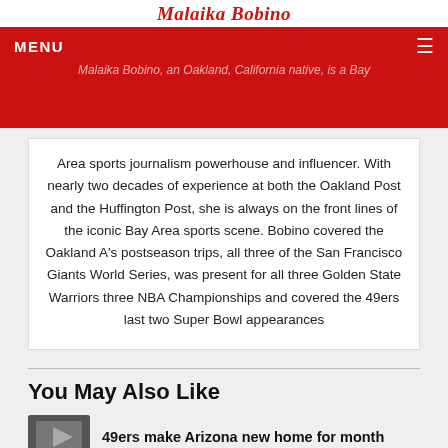Malaika Bobino
MENU
Malaika Bobino, an Oakland, California native, is a Bay Area sports journalism powerhouse and influencer. With nearly two decades of experience at both the Oakland Post and the Huffington Post, she is always on the front lines of the iconic Bay Area sports scene. Bobino covered the Oakland A's postseason trips, all three of the San Francisco Giants World Series, was present for all three Golden State Warriors three NBA Championships and covered the 49ers last two Super Bowl appearances
You May Also Like
49ers make Arizona new home for month